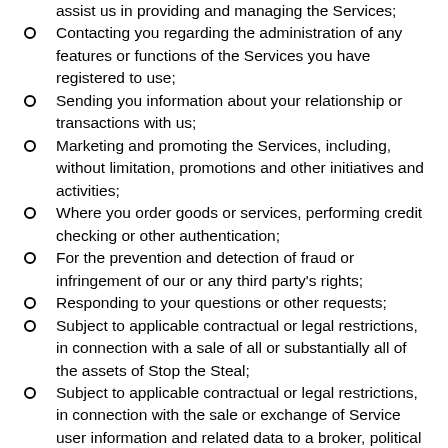assist us in providing and managing the Services;
Contacting you regarding the administration of any features or functions of the Services you have registered to use;
Sending you information about your relationship or transactions with us;
Marketing and promoting the Services, including, without limitation, promotions and other initiatives and activities;
Where you order goods or services, performing credit checking or other authentication;
For the prevention and detection of fraud or infringement of our or any third party's rights;
Responding to your questions or other requests;
Subject to applicable contractual or legal restrictions, in connection with a sale of all or substantially all of the assets of Stop the Steal;
Subject to applicable contractual or legal restrictions, in connection with the sale or exchange of Service user information and related data to a broker, political committee, or other non-profit or for-profit entity;